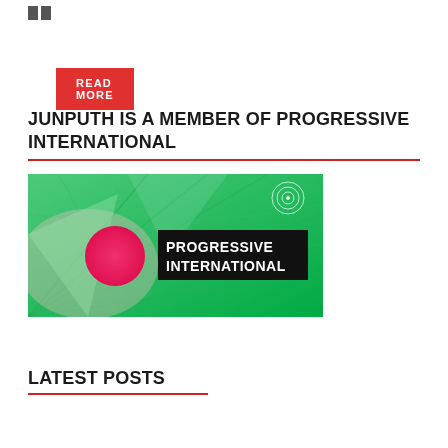[Figure (logo): Small logo mark with two rectangular blocks]
READ MORE
JUNPUTH IS A MEMBER OF PROGRESSIVE INTERNATIONAL
[Figure (illustration): Progressive International banner image with green globe design, pink/red circle on left, and 'PROGRESSIVE INTERNATIONAL' text on dark background]
LATEST POSTS